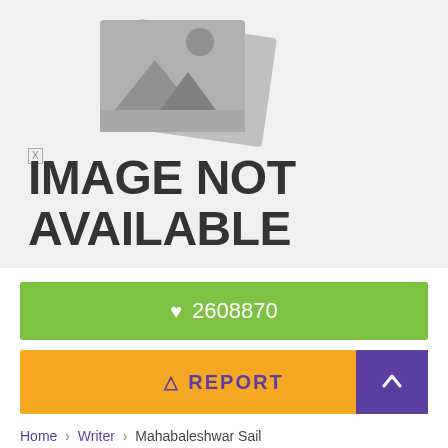[Figure (illustration): Image not available placeholder with grey background, image icon graphic, and large text reading IMAGE NOT AVAILABLE with a broken image marker [X]]
♥ 2608870
⚠ REPORT
Home › Writer › Mahabaleshwar Sail
Mahabaleshwar Sail